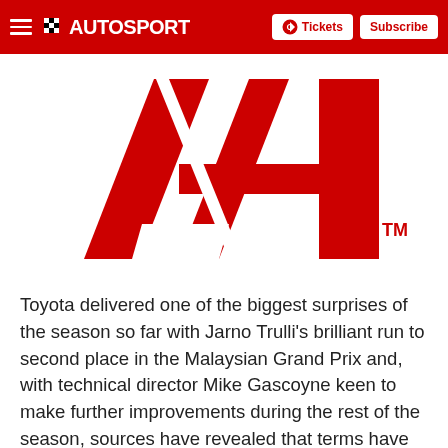AUTOSPORT | Tickets | Subscribe
[Figure (logo): Formula 1 (F1) official logo — large red stylized F1 letterform with TM mark on white background]
Toyota delivered one of the biggest surprises of the season so far with Jarno Trulli's brilliant run to second place in the Malaysian Grand Prix and, with technical director Mike Gascoyne keen to make further improvements during the rest of the season, sources have revealed that terms have been agreed for Vasselon to join the outfit.